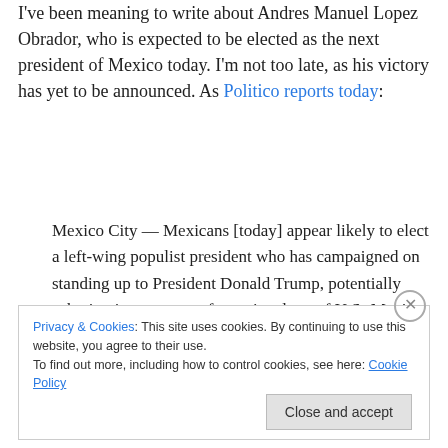I've been meaning to write about Andres Manuel Lopez Obrador, who is expected to be elected as the next president of Mexico today. I'm not too late, as his victory has yet to be announced. As Politico reports today:
Mexico City — Mexicans [today] appear likely to elect a left-wing populist president who has campaigned on standing up to President Donald Trump, potentially ushering in a more confrontational era of U.S.-Mexico relations on everything from immigration policy to trade.
Privacy & Cookies: This site uses cookies. By continuing to use this website, you agree to their use.
To find out more, including how to control cookies, see here: Cookie Policy